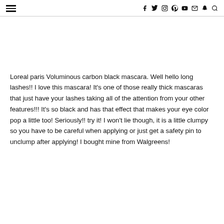≡  f  y  ○  ⊕  ▶  ✉  👻  🔍
Loreal paris Voluminous carbon black mascara. Well hello long lashes!! I love this mascara! It's one of those really thick mascaras that just have your lashes taking all of the attention from your other features!!! It's so black and has that effect that makes your eye color pop a little too! Seriously!! try it! I won't lie though, it is a little clumpy so you have to be careful when applying or just get a safety pin to unclump after applying! I bought mine from Walgreens!